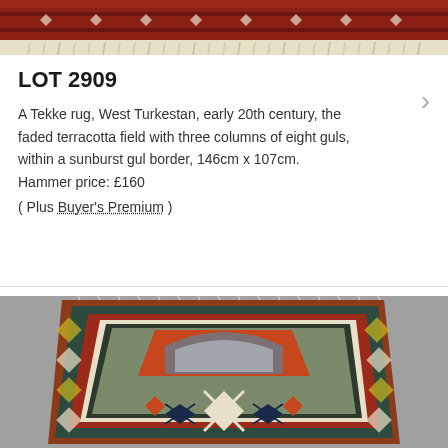[Figure (photo): Top portion of a Tekke rug showing decorative border with red, cream and geometric patterns with fringe]
LOT 2909
A Tekke rug, West Turkestan, early 20th century, the faded terracotta field with three columns of eight guls, within a sunburst gul border, 146cm x 107cm. Hammer price: £160
( Plus Buyer's Premium )
[Figure (photo): Antique prayer rug photographed from above on grey floor, showing geometric mihrab design with terracotta, blue, ivory and gold colours, elaborate border with medallions]